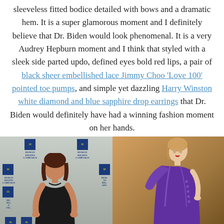sleeveless fitted bodice detailed with bows and a dramatic hem. It is a super glamorous moment and I definitely believe that Dr. Biden would look phenomenal. It is a very Audrey Hepburn moment and I think that styled with a sleek side parted updo, defined eyes bold red lips, a pair of black sheer embellished lace Jimmy Choo 'Love 100' pointed toe pumps, and simple yet dazzling Harry Winston white diamond and blue sapphire drop earrings that Dr. Biden would definitely have had a winning fashion moment on her hands.
[Figure (photo): Two-panel image: left panel shows a woman in a black lace sleeveless dress at an HRC (Human Rights Campaign) event with blue and yellow banners; right panel shows a model on a runway wearing a purple satin draped dress.]